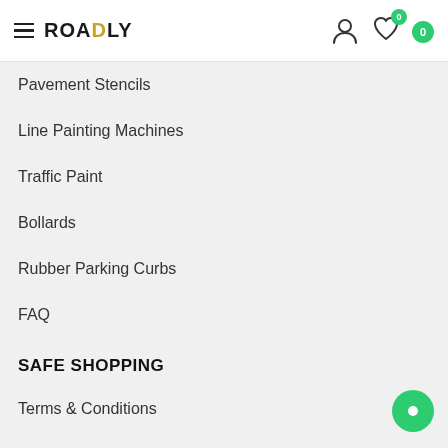ROADLY
Pavement Stencils
Line Painting Machines
Traffic Paint
Bollards
Rubber Parking Curbs
FAQ
SAFE SHOPPING
Terms & Conditions
Shipping
Privacy Policy
Secure Shopping